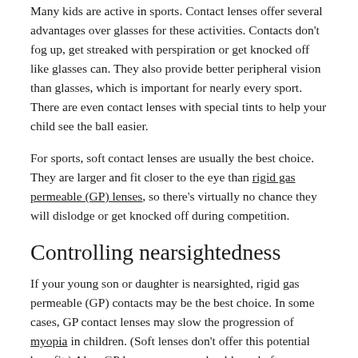Many kids are active in sports. Contact lenses offer several advantages over glasses for these activities. Contacts don't fog up, get streaked with perspiration or get knocked off like glasses can. They also provide better peripheral vision than glasses, which is important for nearly every sport. There are even contact lenses with special tints to help your child see the ball easier.
For sports, soft contact lenses are usually the best choice. They are larger and fit closer to the eye than rigid gas permeable (GP) lenses, so there's virtually no chance they will dislodge or get knocked off during competition.
Controlling nearsightedness
If your young son or daughter is nearsighted, rigid gas permeable (GP) contacts may be the best choice. In some cases, GP contact lenses may slow the progression of myopia in children. (Soft lenses don't offer this potential benefit.) Also, GP lenses are more durable and often provide sharper vision than soft contacts.
Building self-esteem with contact lenses
Contact lenses can do wonders for some children's self-esteem. Many